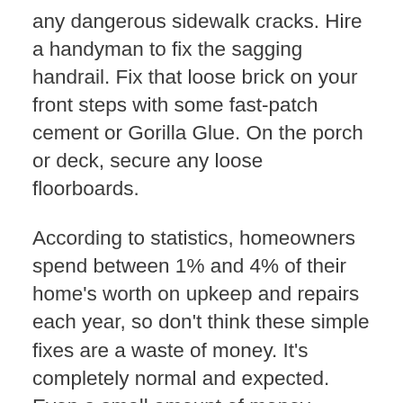any dangerous sidewalk cracks. Hire a handyman to fix the sagging handrail. Fix that loose brick on your front steps with some fast-patch cement or Gorilla Glue. On the porch or deck, secure any loose floorboards.
According to statistics, homeowners spend between 1% and 4% of their home's worth on upkeep and repairs each year, so don't think these simple fixes are a waste of money. It's completely normal and expected. Even a small amount of money invested in your home before you sell it can make a tremendous difference.
In the winter, curb appeal is more